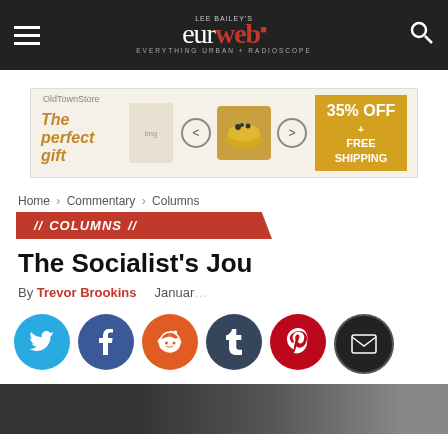Lee Bailey's eurweb — EVERYTHING URBAN + RADIOSCOPE
[Figure (other): Advertisement banner: 'The perfect gift' with food product image, navigation arrows, and '35% OFF + FREE SHIPPING' offer badge]
Home › Commentary › Columns
COLUMNS
The Socialist's Jou
By Trevor Brookins   January
[Figure (other): Video player overlay with error message: 'The media could not be loaded either because the server or network failed or because the format is not supported.' with close (X) button]
[Figure (other): Social sharing buttons row: Twitter (blue), Facebook (dark blue), Reddit (orange), Tumblr (slate), Pinterest (red), Email (black)]
[Figure (photo): Dark blurred background photograph at bottom of page]